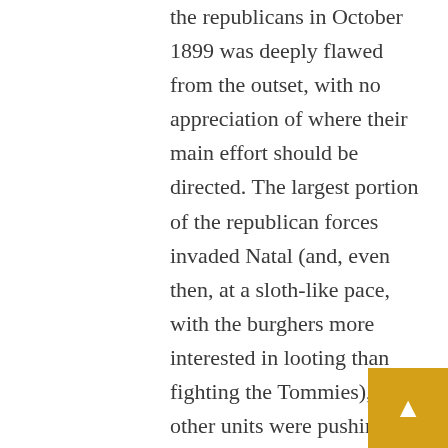the republicans in October 1899 was deeply flawed from the outset, with no appreciation of where their main effort should be directed. The largest portion of the republican forces invaded Natal (and, even then, at a sloth-like pace, with the burghers more interested in looting than fighting the Tommies), while other units were pushing out in all directions, wasting their energies against the likes of Rhodesia, Bechuanaland and Zululand. Though Griqualand West was invaded at the beginning of the war, Cape Colony proper – the only logical target for Kruger's crusade – was not invaded until the 1st November: fully three weeks into the conflict. This was an inexplicably senseless delay: the only